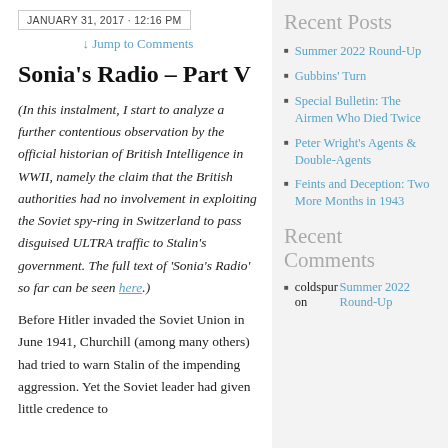JANUARY 31, 2017 · 12:16 PM
↓ Jump to Comments
Sonia's Radio – Part V
(In this instalment, I start to analyze a further contentious observation by the official historian of British Intelligence in WWII, namely the claim that the British authorities had no involvement in exploiting the Soviet spy-ring in Switzerland to pass disguised ULTRA traffic to Stalin's government.  The full text of 'Sonia's Radio' so far can be seen here.)
Before Hitler invaded the Soviet Union in June 1941, Churchill (among many others) had tried to warn Stalin of the impending aggression. Yet the Soviet leader had given little credence to
Recent Posts
Summer 2022 Round-Up
Gubbins' Turn
Special Bulletin: The Airmen Who Died Twice
Peter Wright's Agents & Double-Agents
Feints and Deception: Two More Months in 1943
Recent Comments
coldspur on Summer 2022 Round-Up